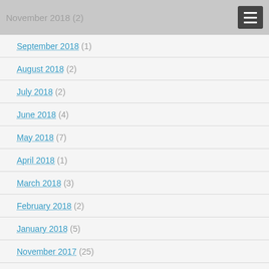November 2018 (2)
September 2018 (1)
August 2018 (2)
July 2018 (2)
June 2018 (4)
May 2018 (7)
April 2018 (1)
March 2018 (3)
February 2018 (2)
January 2018 (5)
November 2017 (25)